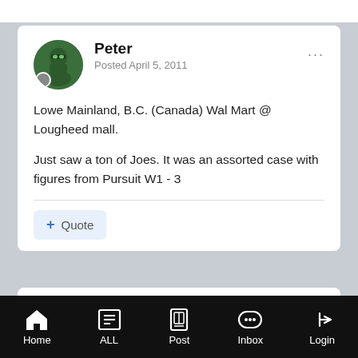Peter
Posted April 5, 2011
Lowe Mainland, B.C. (Canada) Wal Mart @ Lougheed mall.
Just saw a ton of Joes. It was an assorted case with figures from Pursuit W1 - 3
+ Quote
Replies
1.2k
Created
15 yr
Last Reply
2 yr
Home | ALL | Post | Inbox | Login